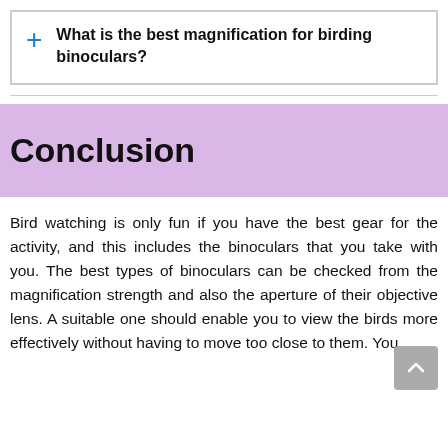+ What is the best magnification for birding binoculars?
Conclusion
Bird watching is only fun if you have the best gear for the activity, and this includes the binoculars that you take with you. The best types of binoculars can be checked from the magnification strength and also the aperture of their objective lens. A suitable one should enable you to view the birds more effectively without having to move too close to them. You